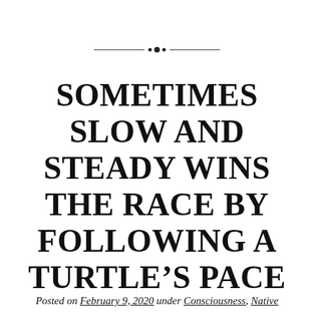[Figure (other): Decorative horizontal divider with dots and lines in the center]
SOMETIMES SLOW AND STEADY WINS THE RACE BY FOLLOWING A TURTLE'S PACE
Posted on February 9, 2020 under Consciousness, Native